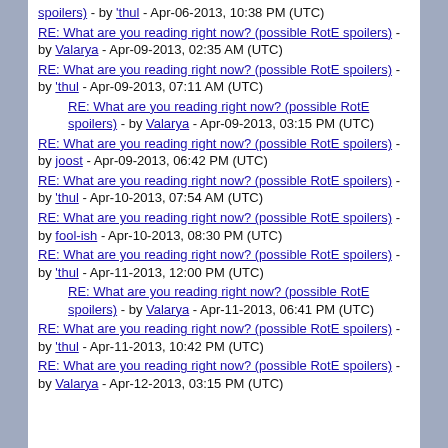spoilers) - by 'thul - Apr-06-2013, 10:38 PM (UTC)
RE: What are you reading right now? (possible RotE spoilers) - by Valarya - Apr-09-2013, 02:35 AM (UTC)
RE: What are you reading right now? (possible RotE spoilers) - by 'thul - Apr-09-2013, 07:11 AM (UTC)
RE: What are you reading right now? (possible RotE spoilers) - by Valarya - Apr-09-2013, 03:15 PM (UTC)
RE: What are you reading right now? (possible RotE spoilers) - by joost - Apr-09-2013, 06:42 PM (UTC)
RE: What are you reading right now? (possible RotE spoilers) - by 'thul - Apr-10-2013, 07:54 AM (UTC)
RE: What are you reading right now? (possible RotE spoilers) - by fool-ish - Apr-10-2013, 08:30 PM (UTC)
RE: What are you reading right now? (possible RotE spoilers) - by 'thul - Apr-11-2013, 12:00 PM (UTC)
RE: What are you reading right now? (possible RotE spoilers) - by Valarya - Apr-11-2013, 06:41 PM (UTC)
RE: What are you reading right now? (possible RotE spoilers) - by 'thul - Apr-11-2013, 10:42 PM (UTC)
RE: What are you reading right now? (possible RotE spoilers) - by Valarya - Apr-12-2013, 03:15 PM (UTC)